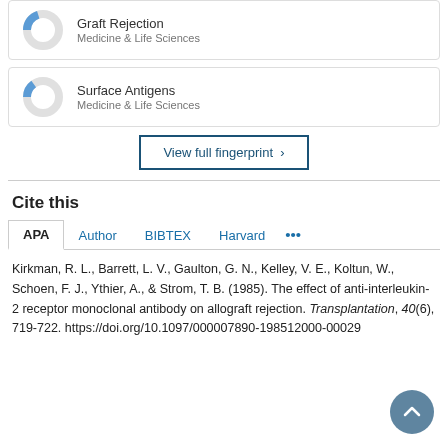[Figure (donut-chart): Partial donut chart for Graft Rejection category, blue segment approximately 20%]
Graft Rejection
Medicine & Life Sciences
[Figure (donut-chart): Partial donut chart for Surface Antigens category, blue segment approximately 15%]
Surface Antigens
Medicine & Life Sciences
View full fingerprint >
Cite this
APA  Author  BIBTEX  Harvard  ...
Kirkman, R. L., Barrett, L. V., Gaulton, G. N., Kelley, V. E., Koltun, W., Schoen, F. J., Ythier, A., & Strom, T. B. (1985). The effect of anti-interleukin-2 receptor monoclonal antibody on allograft rejection. Transplantation, 40(6), 719-722. https://doi.org/10.1097/000007890-198512000-00029